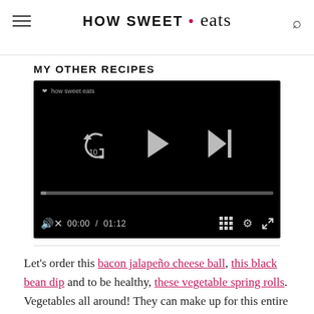HOW SWEET • eats
MY OTHER RECIPES
[Figure (screenshot): Video player with black background showing playback controls: replay 10s button, play button, skip forward button, progress bar at 00:00 / 01:12, volume, grid, settings and fullscreen icons. Small logo watermark in top left.]
Let's order this bacon jalapeño cheese ball, this black bean dip and to be healthy, these vegetable spring rolls. Vegetables all around! They can make up for this entire pitcher of